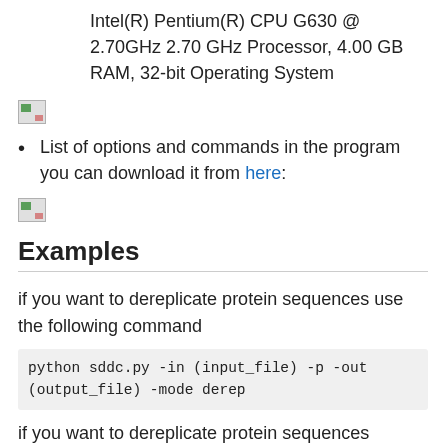Intel(R) Pentium(R) CPU G630 @ 2.70GHz 2.70 GHz Processor, 4.00 GB RAM, 32-bit Operating System
[Figure (photo): Broken/missing image placeholder (first)]
List of options and commands in the program you can download it from here:
[Figure (photo): Broken/missing image placeholder (second)]
Examples
if you want to dereplicate protein sequences use the following command
python sddc.py -in (input_file) -p -out (output_file) -mode derep
if you want to dereplicate protein sequences